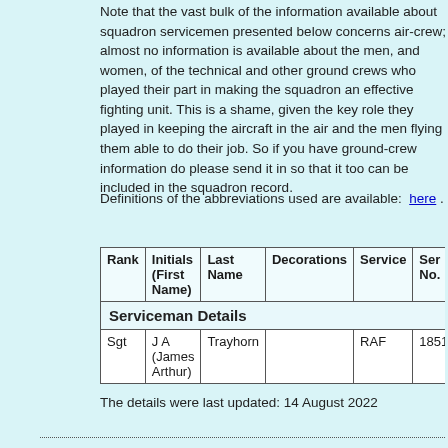Note that the vast bulk of the information available about squadron servicemen presented below concerns air-crew; almost no information is available about the men, and women, of the technical and other ground crews who played their part in making the squadron an effective fighting unit. This is a shame, given the key role they played in keeping the aircraft in the air and the men flying them able to do their job. So if you have ground-crew information do please send it in so that it too can be included in the squadron record.
Definitions of the abbreviations used are available: here .
| Rank | Initials (First Name) | Last Name | Decorations | Service | Ser No. |
| --- | --- | --- | --- | --- | --- |
| Sgt | J A (James Arthur) | Trayhorn |  | RAF | 1851 |
The details were last updated: 14 August 2022